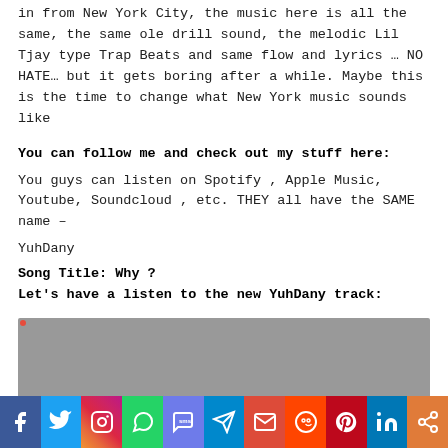in from New York City, the music here is all the same, the same ole drill sound, the melodic Lil Tjay type Trap Beats and same flow and lyrics … NO HATE… but it gets boring after a while. Maybe this is the time to change what New York music sounds like
You can follow me and check out my stuff here:
You guys can listen on Spotify , Apple Music, Youtube, Soundcloud , etc. THEY all have the SAME name –
YuhDany
Song Title: Why ?
Let's have a listen to the new YuhDany track:
[Figure (other): Embedded media player (gray box)]
[Figure (other): Social sharing bar with icons: Facebook, Twitter, Instagram, WhatsApp, SMS, Telegram, Email, Reddit, Pinterest, LinkedIn, Share]